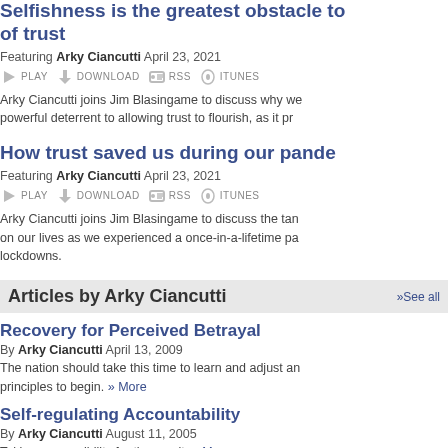Selfishness is the greatest obstacle to trust
Featuring Arky Ciancutti April 23, 2021
Arky Ciancutti joins Jim Blasingame to discuss why we... powerful deterrent to allowing trust to flourish, as it pr...
How trust saved us during our pande...
Featuring Arky Ciancutti April 23, 2021
Arky Ciancutti joins Jim Blasingame to discuss the tan... on our lives as we experienced a once-in-a-lifetime pa... lockdowns.
Articles by Arky Ciancutti
Recovery for Perceived Betrayal
By Arky Ciancutti April 13, 2009
The nation should take this time to learn and adjust an... principles to begin. » More
Self-regulating Accountability
By Arky Ciancutti August 11, 2005
Taking responsibility for the result. » More
Company Picnic Pointers
By Arky Ciancutti July 22, 2005